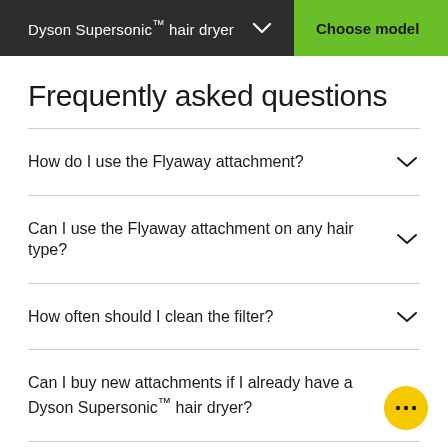Dyson Supersonic™ hair dryer  ∨  Choose model
Frequently asked questions
How do I use the Flyaway attachment?
Can I use the Flyaway attachment on any hair type?
How often should I clean the filter?
Can I buy new attachments if I already have a Dyson Supersonic™ hair dryer?
Can I purchase the consumer Dyson Supersonic™